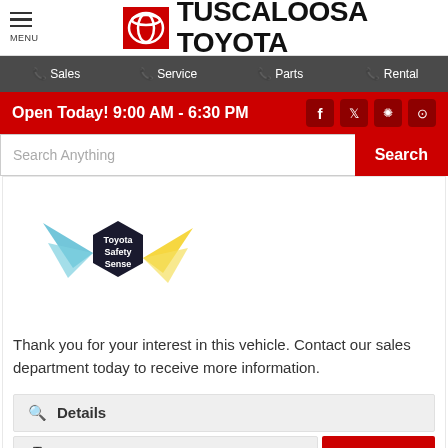[Figure (logo): Tuscaloosa Toyota dealership header with menu button, Toyota badge logo, and brand name]
Sales | Service | Parts | Rental
Open Today! 9:00 AM - 6:30 PM
Search Anything
[Figure (logo): Toyota Safety Sense logo with colorful abstract geometric shapes and dark hexagon badge]
Thank you for your interest in this vehicle. Contact our sales department today to receive more information.
Details
Send to My Phone
CHAT NOW